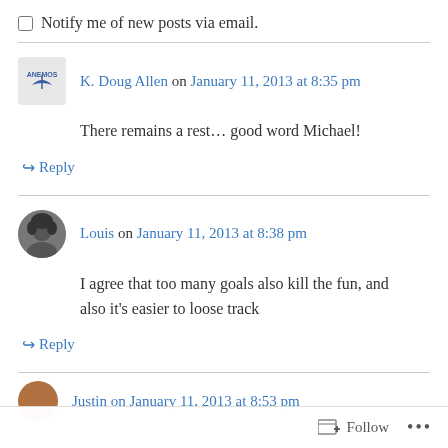Notify me of new posts via email.
K. Doug Allen on January 11, 2013 at 8:35 pm
There remains a rest... good word Michael!
Reply
Louis on January 11, 2013 at 8:38 pm
I agree that too many goals also kill the fun, and also it's easier to loose track
Reply
Justin on January 11, 2013 at 8:53 pm
Follow